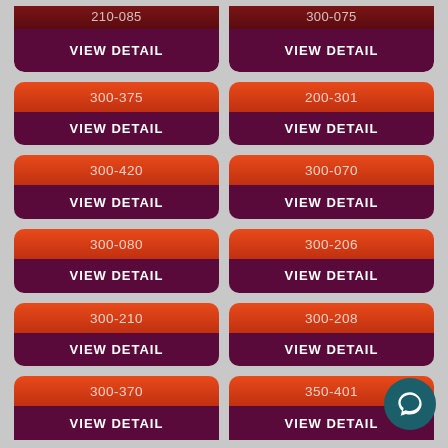[Figure (screenshot): Grid of product/course buttons, each with a code number and VIEW DETAIL label. Row 1 partial: 210-085 and 300-075. Row 2: 300-375 and 200-301. Row 3: 300-420 and 300-070. Row 4: 300-080 and 300-206. Row 5: 300-210 and 300-208. Row 6 partial: 300-370 and 350-401. Chat button bottom right.]